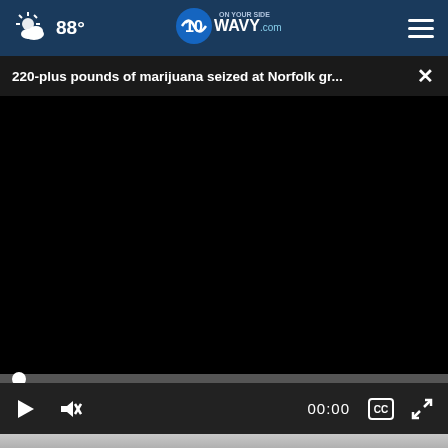88° WAVY.com ON YOUR SIDE - navigation bar
220-plus pounds of marijuana seized at Norfolk gr...
[Figure (screenshot): Black video player area showing a paused video, with a progress bar at 0:00 and playback controls including play button, mute button, time display 00:00, captions button, and fullscreen button]
[Figure (photo): Bottom partial view showing a news advertisement banner for WAVY NEWS 10 TODAY - NEWS, WEATHER & TRAFFIC ON YOUR SIDE, featuring anchors/reporters, with a close (X) button overlay]